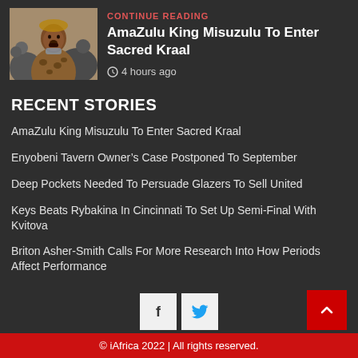[Figure (photo): Photo of AmaZulu King Misuzulu wearing leopard-print traditional attire, surrounded by people]
AmaZulu King Misuzulu To Enter Sacred Kraal
4 hours ago
RECENT STORIES
AmaZulu King Misuzulu To Enter Sacred Kraal
Enyobeni Tavern Owner's Case Postponed To September
Deep Pockets Needed To Persuade Glazers To Sell United
Keys Beats Rybakina In Cincinnati To Set Up Semi-Final With Kvitova
Briton Asher-Smith Calls For More Research Into How Periods Affect Performance
© iAfrica 2022 | All rights reserved.